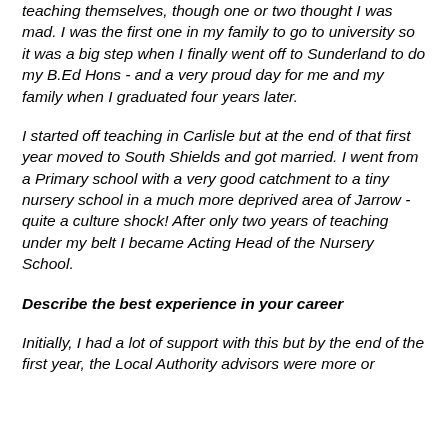teaching themselves, though one or two thought I was mad. I was the first one in my family to go to university so it was a big step when I finally went off to Sunderland to do my B.Ed Hons - and a very proud day for me and my family when I graduated four years later.
I started off teaching in Carlisle but at the end of that first year moved to South Shields and got married. I went from a Primary school with a very good catchment to a tiny nursery school in a much more deprived area of Jarrow - quite a culture shock! After only two years of teaching under my belt I became Acting Head of the Nursery School.
Describe the best experience in your career
Initially, I had a lot of support with this but by the end of the first year, the Local Authority advisors were more or